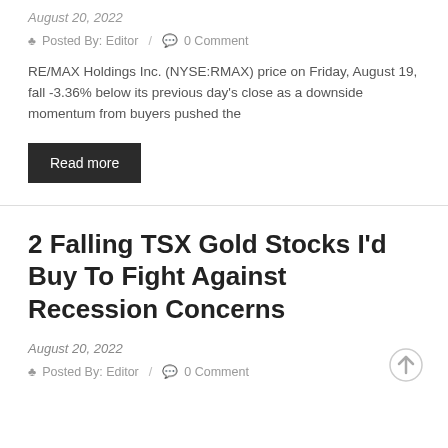August 20, 2022
Posted By: Editor / 0 Comment
RE/MAX Holdings Inc. (NYSE:RMAX) price on Friday, August 19, fall -3.36% below its previous day’s close as a downside momentum from buyers pushed the
Read more
2 Falling TSX Gold Stocks I’d Buy To Fight Against Recession Concerns
August 20, 2022
Posted By: Editor / 0 Comment